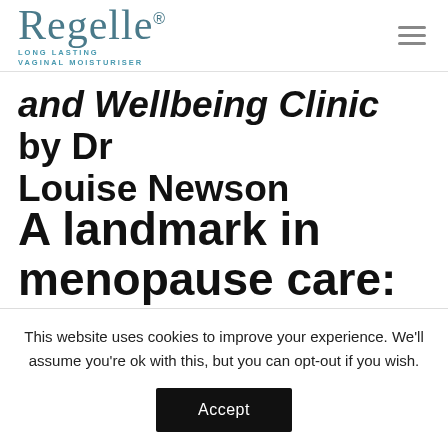[Figure (logo): Regelle logo with text 'LONG LASTING VAGINAL MOISTURISER' and hamburger menu icon]
and Wellbeing Clinic by Dr Louise Newson
A landmark in menopause care:
This website uses cookies to improve your experience. We'll assume you're ok with this, but you can opt-out if you wish.
Accept